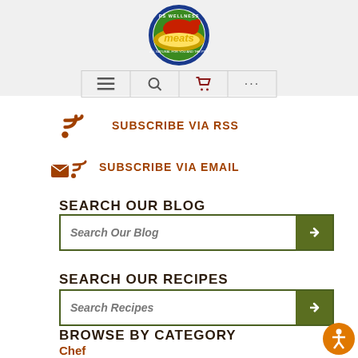[Figure (logo): RS Wellness Meats circular logo with blue border, globe graphic, and stylized italic 'meats' text in yellow]
[Figure (screenshot): Navigation bar with hamburger menu, search, cart, and ellipsis icons]
SUBSCRIBE VIA RSS
SUBSCRIBE VIA EMAIL
SEARCH OUR BLOG
Search Our Blog
SEARCH OUR RECIPES
Search Recipes
BROWSE BY CATEGORY
Chef